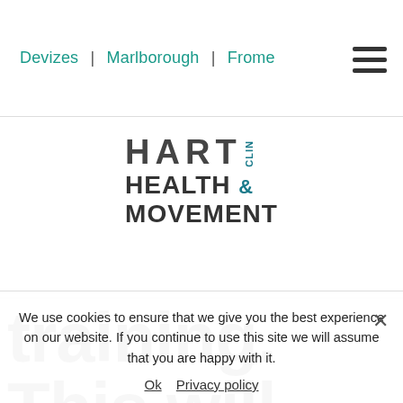Devizes | Marlborough | Frome
[Figure (logo): Hart Health & Clinic Movement logo with stylized letters and vertical CLIN text]
training. This will initially be achieved th...
We use cookies to ensure that we give you the best experience on our website. If you continue to use this site we will assume that you are happy with it.
Ok   Privacy policy